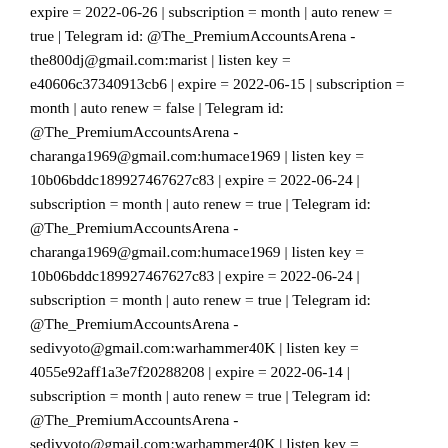expire = 2022-06-26 | subscription = month | auto renew = true | Telegram id: @The_PremiumAccountsArena - the800dj@gmail.com:marist | listen key = e40606c37340913cb6 | expire = 2022-06-15 | subscription = month | auto renew = false | Telegram id: @The_PremiumAccountsArena - charanga1969@gmail.com:humace1969 | listen key = 10b06bddc189927467627c83 | expire = 2022-06-24 | subscription = month | auto renew = true | Telegram id: @The_PremiumAccountsArena - charanga1969@gmail.com:humace1969 | listen key = 10b06bddc189927467627c83 | expire = 2022-06-24 | subscription = month | auto renew = true | Telegram id: @The_PremiumAccountsArena - sedivyoto@gmail.com:warhammer40K | listen key = 4055e92aff1a3e7f20288208 | expire = 2022-06-14 | subscription = month | auto renew = true | Telegram id: @The_PremiumAccountsArena - sedivyoto@gmail.com:warhammer40K | listen key = 4055e92aff1a3e7f20288208 | expire = 2022-06-14 | subscription =